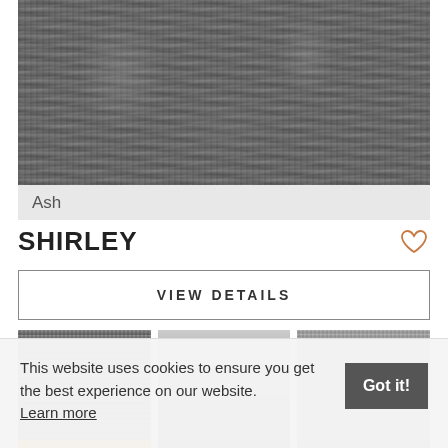[Figure (photo): Close-up texture photo of a woven rug in grey/ash tones with label 'Ash' at the bottom]
SHIRLEY
VIEW DETAILS
[Figure (photo): Three thumbnail images of the Shirley rug in different colorways/settings]
This website uses cookies to ensure you get the best experience on our website. Learn more